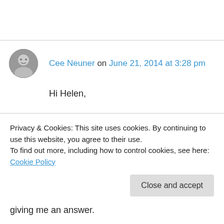[Figure (photo): Circular avatar photo of Cee Neuner, a grayscale portrait]
Cee Neuner on June 21, 2014 at 3:28 pm
Hi Helen,
http://hummingbirddreamsphotography.wordpress.com invited me to be part of a Virtual Blog Tour, which I agreed to and will be posting on Monday, June 30th. It is also my turn to extend an invitation to one or more people who's work giving me an answer.
Privacy & Cookies: This site uses cookies. By continuing to use this website, you agree to their use.
To find out more, including how to control cookies, see here: Cookie Policy
Close and accept